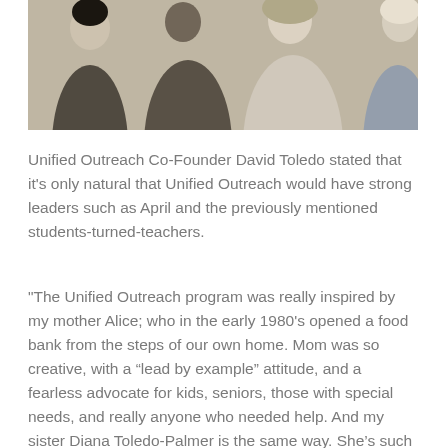[Figure (photo): Group of people sitting together, viewed from a slightly elevated angle. Multiple people visible including women in casual clothing.]
Unified Outreach Co-Founder David Toledo stated that it's only natural that Unified Outreach would have strong leaders such as April and the previously mentioned students-turned-teachers.
"The Unified Outreach program was really inspired by my mother Alice; who in the early 1980's opened a food bank from the steps of our own home. Mom was so creative, with a “lead by example” attitude, and a fearless advocate for kids, seniors, those with special needs, and really anyone who needed help. And my sister Diana Toledo-Palmer is the same way. She’s such a great example and